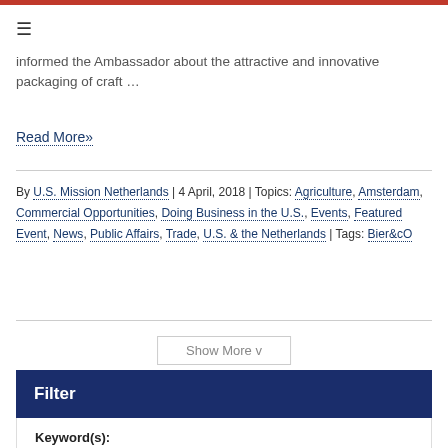☰
informed the Ambassador about the attractive and innovative packaging of craft …
Read More»
By U.S. Mission Netherlands | 4 April, 2018 | Topics: Agriculture, Amsterdam, Commercial Opportunities, Doing Business in the U.S., Events, Featured Event, News, Public Affairs, Trade, U.S. & the Netherlands | Tags: Bier&cO
Show More v
Filter
Keyword(s):